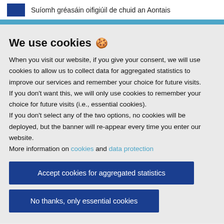Suíomh gréasáin oifigiúil de chuid an Aontais
We use cookies 🍪
When you visit our website, if you give your consent, we will use cookies to allow us to collect data for aggregated statistics to improve our services and remember your choice for future visits.
If you don't want this, we will only use cookies to remember your choice for future visits (i.e., essential cookies).
If you don't select any of the two options, no cookies will be deployed, but the banner will re-appear every time you enter our website.
More information on cookies and data protection
Accept cookies for aggregated statistics
No thanks, only essential cookies